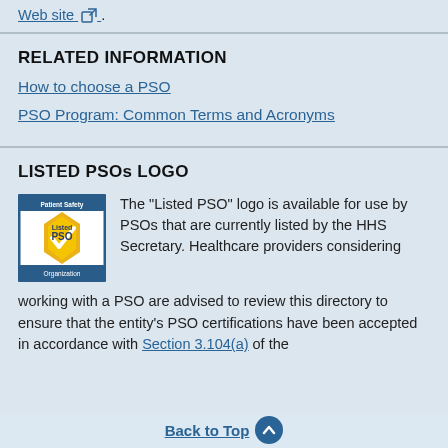Web site [external link].
RELATED INFORMATION
How to choose a PSO
PSO Program: Common Terms and Acronyms
LISTED PSOs LOGO
[Figure (logo): Listed PSO logo — blue bordered square with 'Patient Safety Organization' text at top, 'Listed PSO' text in center with gold checkmark, 'Organization' text at bottom]
The "Listed PSO" logo is available for use by PSOs that are currently listed by the HHS Secretary. Healthcare providers considering working with a PSO are advised to review this directory to ensure that the entity's PSO certifications have been accepted in accordance with Section 3.104(a) of the